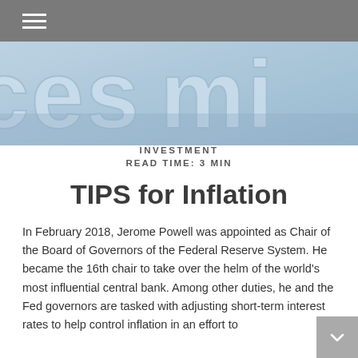[Figure (photo): Close-up photo of large light-blue 3D letters spelling words related to finance/investment on a blue background]
INVESTMENT
READ TIME: 3 MIN
TIPS for Inflation
In February 2018, Jerome Powell was appointed as Chair of the Board of Governors of the Federal Reserve System. He became the 16th chair to take over the helm of the world's most influential central bank. Among other duties, he and the Fed governors are tasked with adjusting short-term interest rates to help control inflation in an effort to